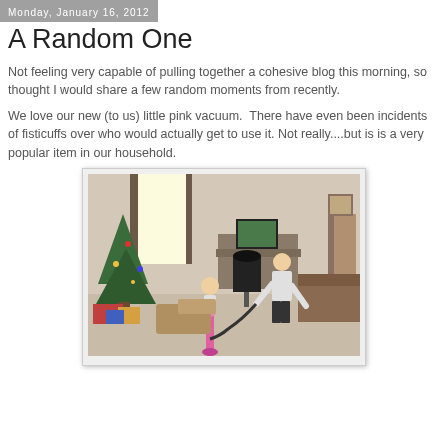Monday, January 16, 2012
A Random One
Not feeling very capable of pulling together a cohesive blog this morning, so thought I would share a few random moments from recently.
We love our new (to us) little pink vacuum.  There have even been incidents of fisticuffs over who would actually get to use it. Not really....but is is a very popular item in our household.
[Figure (photo): A child and adult using a pink vacuum cleaner in a living room with a Christmas tree, computer desk, and furniture visible.]